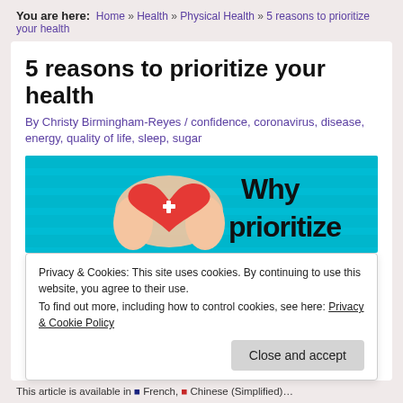You are here: Home » Health » Physical Health » 5 reasons to prioritize your health
5 reasons to prioritize your health
By Christy Birmingham-Reyes / confidence, coronavirus, disease, energy, quality of life, sleep, sugar
[Figure (photo): Hands holding a red heart with a white plus sign on a teal background, with text 'Why prioritize' in bold black letters]
Privacy & Cookies: This site uses cookies. By continuing to use this website, you agree to their use.
To find out more, including how to control cookies, see here: Privacy & Cookie Policy
Close and accept
This article is available in...